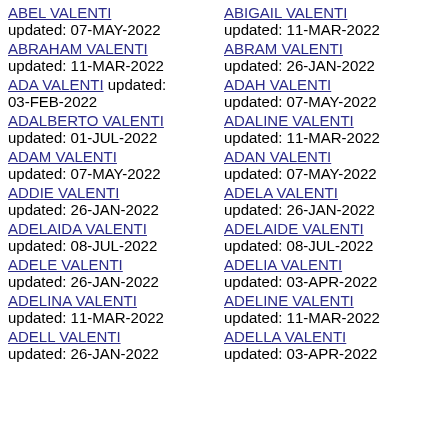ABEL VALENTI updated: 07-MAY-2022
ABIGAIL VALENTI updated: 11-MAR-2022
ABRAHAM VALENTI updated: 11-MAR-2022
ABRAM VALENTI updated: 26-JAN-2022
ADA VALENTI updated: 03-FEB-2022
ADAH VALENTI updated: 07-MAY-2022
ADALBERTO VALENTI updated: 01-JUL-2022
ADALINE VALENTI updated: 11-MAR-2022
ADAM VALENTI updated: 07-MAY-2022
ADAN VALENTI updated: 07-MAY-2022
ADDIE VALENTI updated: 26-JAN-2022
ADELA VALENTI updated: 26-JAN-2022
ADELAIDA VALENTI updated: 08-JUL-2022
ADELAIDE VALENTI updated: 08-JUL-2022
ADELE VALENTI updated: 26-JAN-2022
ADELIA VALENTI updated: 03-APR-2022
ADELINA VALENTI updated: 11-MAR-2022
ADELINE VALENTI updated: 11-MAR-2022
ADELL VALENTI updated: 26-JAN-2022
ADELLA VALENTI updated: 03-APR-2022